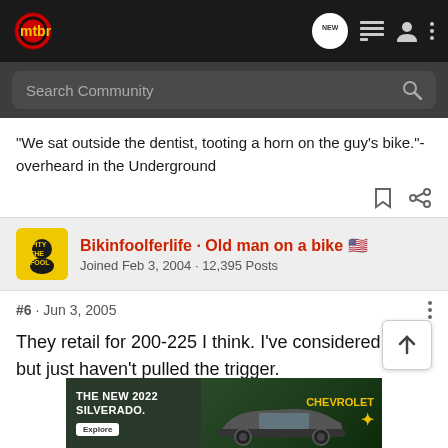mtbr
Search Community
"We sat outside the dentist, tooting a horn on the guy's bike."-overheard in the Underground
Bikinfoolferlife · Old man on a bike 🇺🇸
Joined Feb 3, 2004 · 12,395 Posts
#6 · Jun 3, 2005
They retail for 200-225 I think. I've considered one but just haven't pulled the trigger.
[Figure (screenshot): Chevrolet advertisement banner showing THE NEW 2022 SILVERADO. with Explore button and Chevrolet logo]